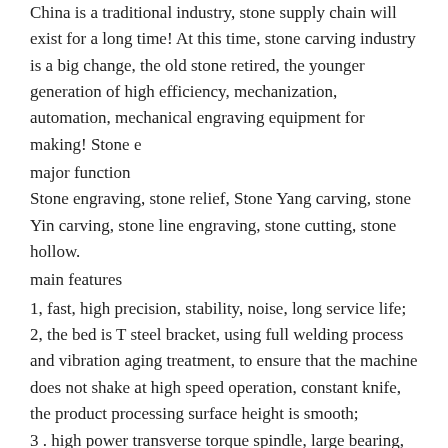China is a traditional industry, stone supply chain will exist for a long time! At this time, stone carving industry is a big change, the old stone retired, the younger generation of high efficiency, mechanization, automation, mechanical engraving equipment for making! Stone e
major function
Stone engraving, stone relief, Stone Yang carving, stone Yin carving, stone line engraving, stone cutting, stone hollow.
main features
1, fast, high precision, stability, noise, long service life;
2, the bed is T steel bracket, using full welding process and vibration aging treatment, to ensure that the machine does not shake at high speed operation, constant knife, the product processing surface height is smooth;
3 . high power transverse torque spindle, large bearing, high speed, large amount of chip, and the motor is not easy to damage.
application area
Applicable to stone industry, stone processing industry, art relief,